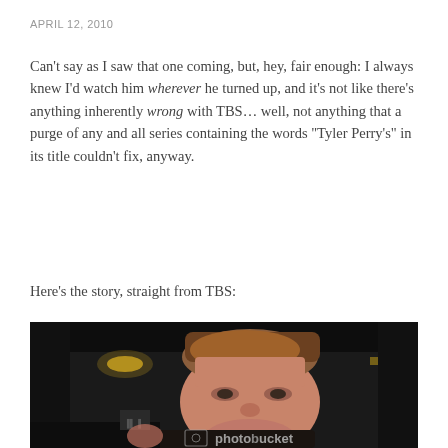APRIL 12, 2010
Can't say as I saw that one coming, but, hey, fair enough: I always knew I'd watch him wherever he turned up, and it's not like there's anything inherently wrong with TBS... well, not anything that a purge of any and all series containing the words “Tyler Perry’s” in its title couldn’t fix, anyway.
Here’s the story, straight from TBS:
[Figure (photo): Close-up photo of a man with reddish-brown hair in a dark setting, with a Photobucket watermark visible at the bottom]